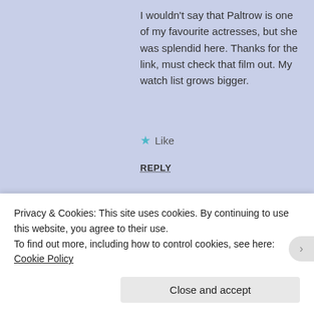I wouldn't say that Paltrow is one of my favourite actresses, but she was splendid here. Thanks for the link, must check that film out. My watch list grows bigger.
★ Like
REPLY
beetleypete said:
June 28, 2016 at 6:23 pm
I know that you have a big watch list mate. But this film needs to be bumped up the list! It fits your current theme
Privacy & Cookies: This site uses cookies. By continuing to use this website, you agree to their use.
To find out more, including how to control cookies, see here: Cookie Policy
Close and accept